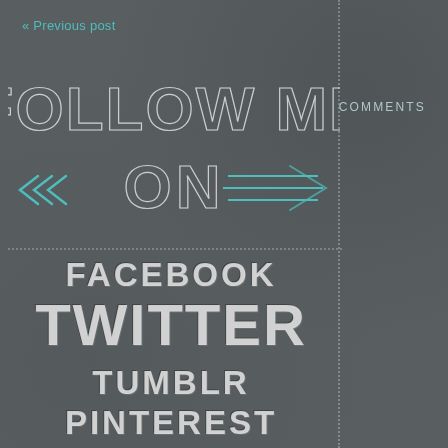« Previous post
[Figure (illustration): Chalkboard style graphic with hand-drawn text reading FOLLOW ME ON in decorative chalk lettering with teal/turquoise accent lines and decorative elements]
COMMENTS
FACEBOOK
TWITTER
TUMBLR
PINTEREST